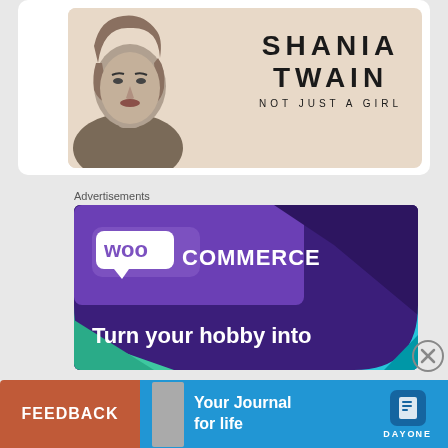[Figure (photo): Shania Twain 'Not Just A Girl' promotional banner showing a black and white portrait of Shania Twain with large bold text reading 'SHANIA TWAIN NOT JUST A GIRL' on a beige background]
Advertisements
[Figure (screenshot): WooCommerce advertisement banner with purple background showing the WooCommerce logo (speech bubble with 'woo' text) and text 'Turn your hobby into' with teal and turquoise geometric accents]
Advertisements
FEEDBACK
[Figure (screenshot): Day One app advertisement on blue background with text 'Your Journal for life' and the Day One logo (book icon) with DAYONE wordmark]